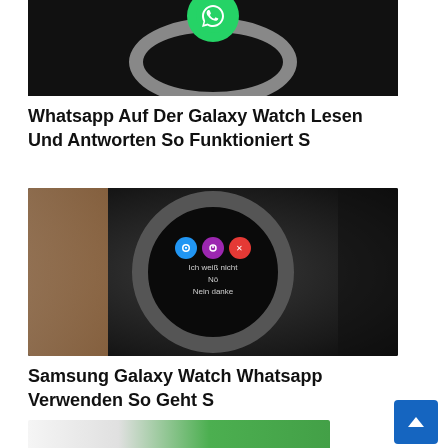[Figure (photo): Samsung Galaxy Watch with WhatsApp logo on dark background, partial top crop]
Whatsapp Auf Der Galaxy Watch Lesen Und Antworten So Funktioniert S
[Figure (photo): Hand holding Samsung Galaxy Watch showing WhatsApp reply interface with icons and German quick-reply options: Ich weiß nicht, Nö, Nein danke]
Samsung Galaxy Watch Whatsapp Verwenden So Geht S
[Figure (photo): Partial image at bottom of page, appears to show a WhatsApp conversation on a device]